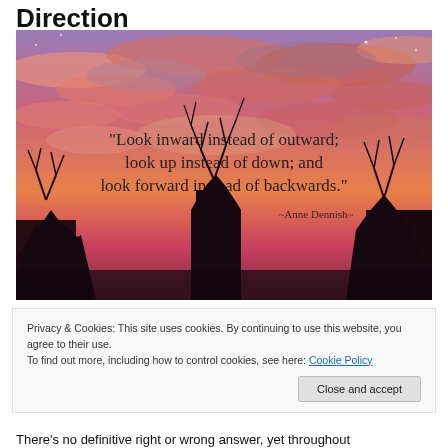Direction
[Figure (photo): Sunset photo with pink and purple clouds and bare trees silhouetted in front. Overlaid quote text reads: "Look inward instead of outward; look up instead of down; and look forward instead of backwards." ~Anne Dennish~]
Privacy & Cookies: This site uses cookies. By continuing to use this website, you agree to their use.
To find out more, including how to control cookies, see here: Cookie Policy
There's no definitive right or wrong answer, yet throughout